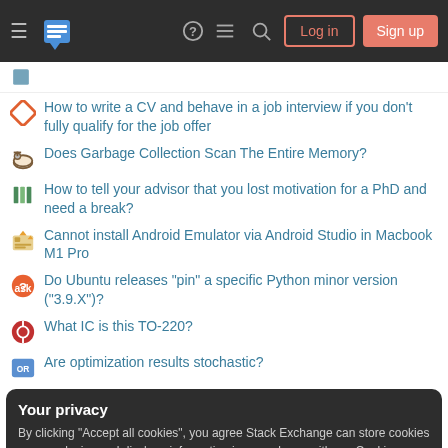Stack Exchange navigation bar with Log in and Sign up buttons
How to write a CV and behave in a job interview if you don't fully qualify for the job offer
Does Garbage Collection Scan The Entire Memory?
How to tell your advisor that you lost motivation for a PhD and need a break?
Cannot install Android Emulator via Android Studio in Macbook M1 Pro
Do Ubuntu releases "pin" a specific Python minor version ("3.9.X")?
What IC is this TO-220?
Are optimization results stochastic?
Your privacy
By clicking "Accept all cookies", you agree Stack Exchange can store cookies on your device and disclose information in accordance with our Cookie Policy.
Accept all cookies | Customize settings
ACADEMIA